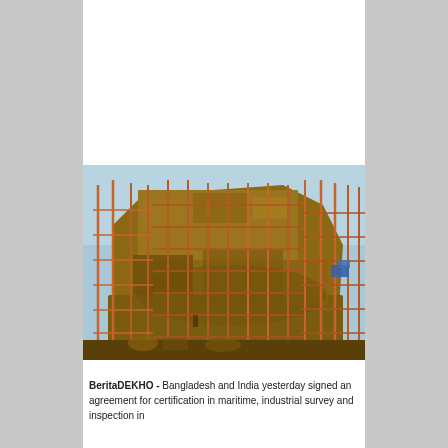[Figure (photo): A large ship hull under construction or repair, surrounded by extensive orange/rust-colored scaffolding. The ship's weathered steel hull is visible rising above the scaffolding structure. Blue sky is visible in the background.]
BeritaDEKHO - Bangladesh and India yesterday signed an agreement for certification in maritime, industrial survey and inspection in